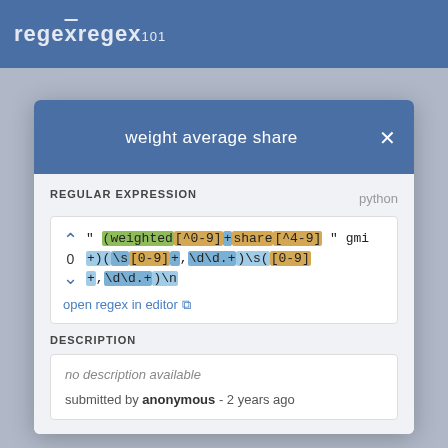regex101
weight average share
REGULAR EXPRESSION
python
" (weighted[^0-9]+share[^4-9] " gmi +)(\s[0-9]+,\d\d.+)\s([0-9]+,\d\d.+)\n
open regex in editor
DESCRIPTION
no description available
submitted by anonymous - 2 years ago